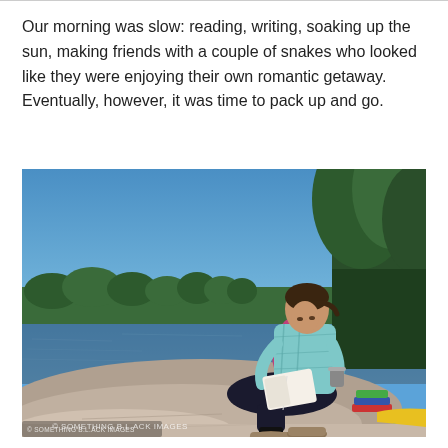Our morning was slow: reading, writing, soaking up the sun, making friends with a couple of snakes who looked like they were enjoying their own romantic getaway. Eventually, however, it was time to pack up and go.
[Figure (photo): A woman sits on a large rock by a calm lake, reading a book and holding a cup. She wears a teal plaid shirt, pink top, dark pants, and hiking boots with black socks. Trees line the far shore under a clear blue sky. Books and a yellow kayak are visible beside her. Watermark text appears in the bottom-left corner.]